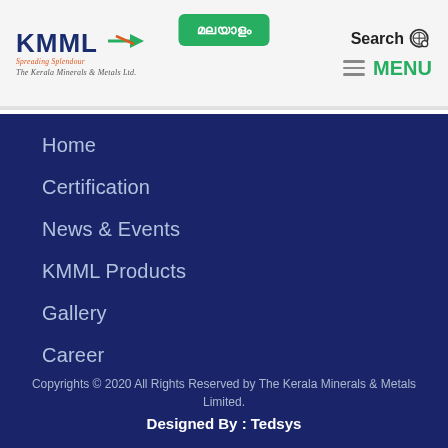KMML - The Kerala Minerals & Metals Ltd. | മലയാളം | Search | MENU
Home
Certification
News & Events
KMML Products
Gallery
Career
Payment Status
Contact Us
Copyrights © 2020 All Rights Reserved by The Kerala Minerals & Metals Limited. Designed By : Tedsys